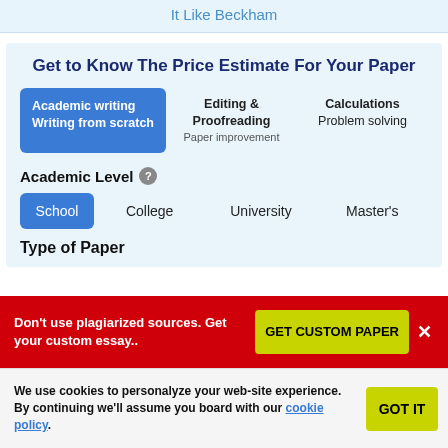It Like Beckham
Get to Know The Price Estimate For Your Paper
Academic writing Writing from scratch | Editing & Proofreading Paper improvement | Calculations Problem solving
Academic Level
School | College | University | Master's
Type of Paper
Don't use plagiarized sources. Get your custom essay..
GET CUSTOM PAPER
We use cookies to personalyze your web-site experience. By continuing we'll assume you board with our cookie policy.
GOT IT